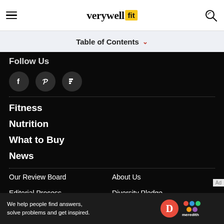verywell fit
Table of Contents
Follow Us
[Figure (other): Three dark circular social media icons: Facebook (f), Pinterest (p), Flipboard (F)]
Fitness
Nutrition
What to Buy
News
Our Review Board
About Us
Editorial Process
Diversity Pledge
[Figure (logo): Dotdash Meredith logo with colorful dots and D circle]
We help people find answers, solve problems and get inspired.